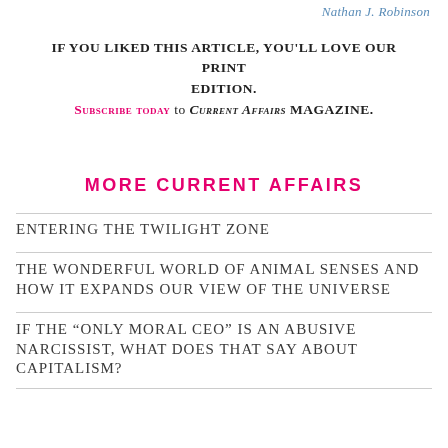Nathan J. Robinson
If you liked this article, you'll love our print edition. Subscribe today to Current Affairs magazine.
MORE CURRENT AFFAIRS
ENTERING THE TWILIGHT ZONE
THE WONDERFUL WORLD OF ANIMAL SENSES AND HOW IT EXPANDS OUR VIEW OF THE UNIVERSE
IF THE “ONLY MORAL CEO” IS AN ABUSIVE NARCISSIST, WHAT DOES THAT SAY ABOUT CAPITALISM?